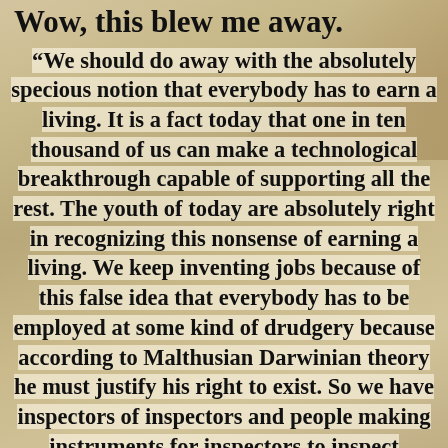Wow, this blew me away.
“We should do away with the absolutely specious notion that everybody has to earn a living. It is a fact today that one in ten thousand of us can make a technological breakthrough capable of supporting all the rest. The youth of today are absolutely right in recognizing this nonsense of earning a living. We keep inventing jobs because of this false idea that everybody has to be employed at some kind of drudgery because according to Malthusian Darwinian theory he must justify his right to exist. So we have inspectors of inspectors and people making instruments for inspectors to inspect inspectors. The true business of people